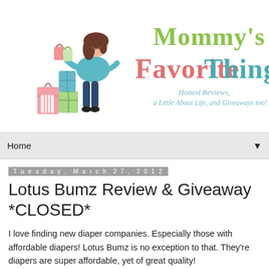[Figure (logo): Mommy's Favorite Things blog header logo with illustrated woman sitting on gift boxes holding shopping bags, text reads 'Mommy's Favorite Things - Honest Reviews, a Little About Life, and Giveaways too!']
Home
Tuesday, March 27, 2012
Lotus Bumz Review & Giveaway *CLOSED*
I love finding new diaper companies. Especially those with affordable diapers! Lotus Bumz is no exception to that. They're diapers are super affordable, yet of great quality!